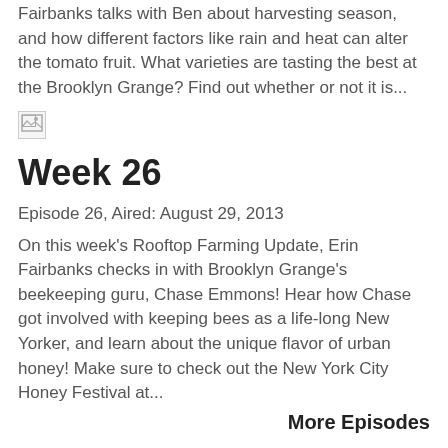Rooftop Farming with Ben Flanner. Erin Fairbanks talks with Ben about harvesting season, and how different factors like rain and heat can alter the tomato fruit. What varieties are tasting the best at the Brooklyn Grange? Find out whether or not it is...
[Figure (photo): Broken image placeholder icon]
Week 26
Episode 26, Aired: August 29, 2013
On this week's Rooftop Farming Update, Erin Fairbanks checks in with Brooklyn Grange's beekeeping guru, Chase Emmons! Hear how Chase got involved with keeping bees as a life-long New Yorker, and learn about the unique flavor of urban honey! Make sure to check out the New York City Honey Festival at...
More Episodes